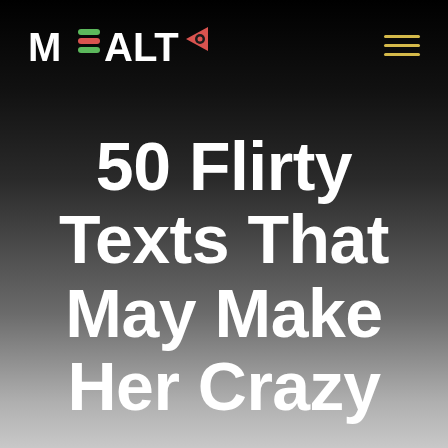MEALTO [logo with navigation hamburger menu]
50 Flirty Texts That May Make Her Crazy